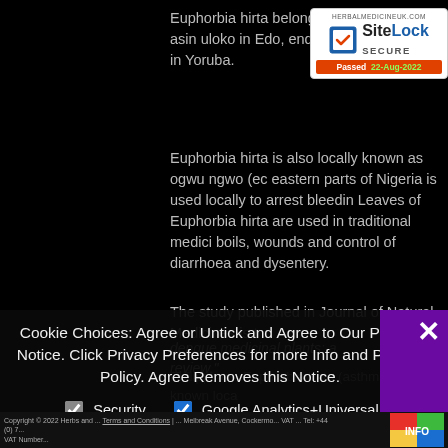Euphorbia hirta belongs to the plant asin uloko in Edo, endamyel in Fula- in Yoruba.
[Figure (logo): SiteLock Secure badge from herbalmedicineuk.com, passed 22-Aug-2022]
Euphorbia hirta is also locally known as ogwu ngwo (ec eastern parts of Nigeria is used locally to arrest bleedin Leaves of Euphorbia hirta are used in traditional medici boils, wounds and control of diarrhoea and dysentery.
The study published in Journal of Natural Medicines is t
dengue medicinal plants: a review.
Cookie Choices: Agree or Untick and Agree to Our Privacy Notice. Click Privacy Preferences for more Info and Privacy Policy. Agree Removes this Notice.
Security
Google Analytics+Universal
Shareaholic
Privacy Preferences
I Agree
Philippines. Euphorbia hirta (asthma herb), known loca
Copyright 2022 Herbs and ... Terms and Conditions | ... Melbreak Avenue, Cockermo... VAT ... Tel: +44 (0) 7...